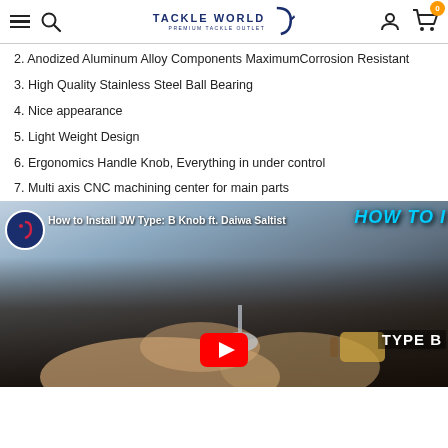Tackle World - Premium Tackle Outlet
2. Anodized Aluminum Alloy Components MaximumCorrosion Resistant
3. High Quality Stainless Steel Ball Bearing
4. Nice appearance
5. Light Weight Design
6. Ergonomics Handle Knob, Everything in under control
7. Multi axis CNC machining center for main parts
[Figure (screenshot): YouTube video thumbnail: 'How to Install JW Type: B Knob ft. Daiwa Saltist' showing hands installing a fishing reel knob with HOW TO and TYPE B text overlays and a red YouTube play button.]